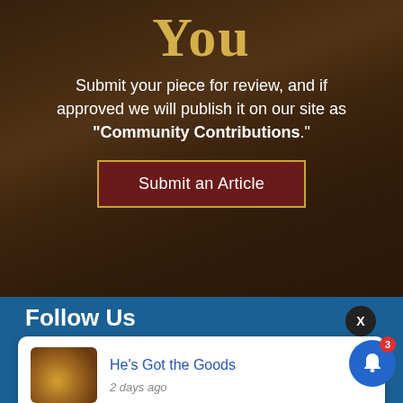You
Submit your piece for review, and if approved we will publish it on our site as "Community Contributions."
[Figure (screenshot): Button labeled 'Submit an Article' with dark red background and gold border]
Follow Us
[Figure (screenshot): Notification card showing 'He's Got the Goods' article with treasure chest image, posted 2 days ago]
Get in Touch